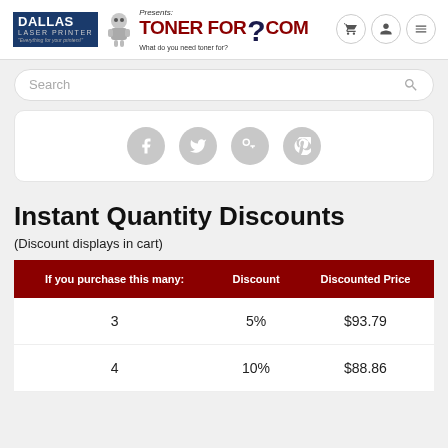[Figure (logo): Dallas Laser Printers presents TonerFor?.com logo with question mark graphic and navigation icons (cart, user, menu)]
[Figure (screenshot): Search bar with placeholder text 'Search' and magnifying glass icon]
[Figure (infographic): Social media icons: Facebook, Twitter, Google+, Pinterest - displayed as grey circles in a white rounded card]
Instant Quantity Discounts
(Discount displays in cart)
| If you purchase this many: | Discount | Discounted Price |
| --- | --- | --- |
| 3 | 5% | $93.79 |
| 4 | 10% | $88.86 |